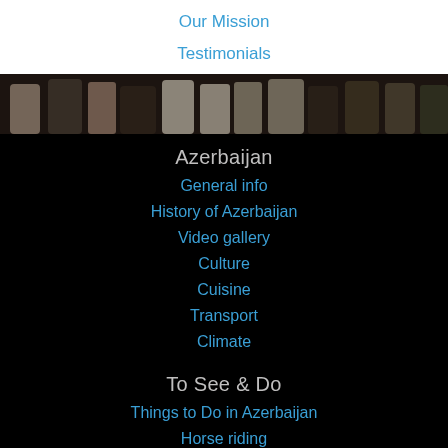Our Mission
Testimonials
[Figure (photo): Dark strip showing silhouettes of human figures in a crowd, dimly lit background]
Azerbaijan
General info
History of Azerbaijan
Video gallery
Culture
Cuisine
Transport
Climate
To See & Do
Things to Do in Azerbaijan
Horse riding
Cultural tours
Cuisine tours
Shopping